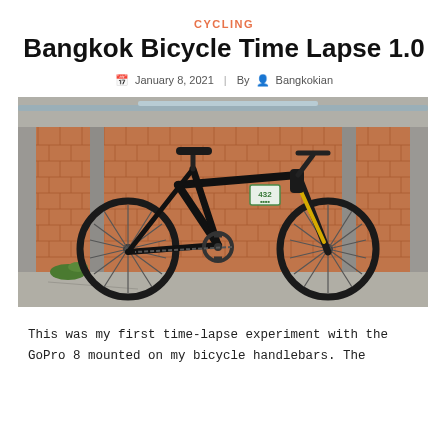CYCLING
Bangkok Bicycle Time Lapse 1.0
January 8, 2021  |  By  Bangkokian
[Figure (photo): A black mountain bicycle parked against a decorative terracotta brick wall with metal rails/poles in the background. The bike has a yellow fork and a race number plate reading 432.]
This was my first time-lapse experiment with the GoPro 8 mounted on my bicycle handlebars. The